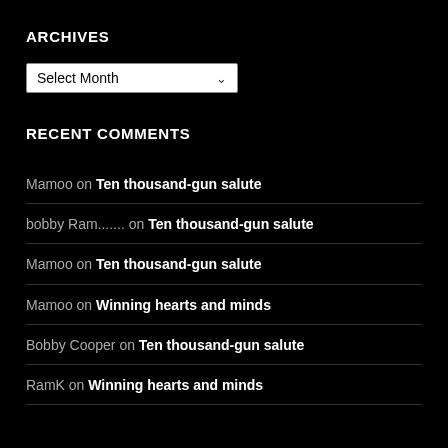ARCHIVES
Select Month
RECENT COMMENTS
Mamoo on Ten thousand-gun salute
bobby Ram....... on Ten thousand-gun salute
Mamoo on Ten thousand-gun salute
Mamoo on Winning hearts and minds
Bobby Cooper on Ten thousand-gun salute
RamK on Winning hearts and minds